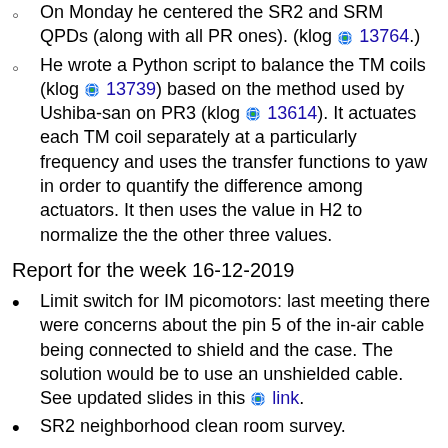On Monday he centered the SR2 and SRM QPDs (along with all PR ones). (klog 13764.)
He wrote a Python script to balance the TM coils (klog 13739) based on the method used by Ushiba-san on PR3 (klog 13614). It actuates each TM coil separately at a particularly frequency and uses the transfer functions to yaw in order to quantify the difference among actuators. It then uses the value in H2 to normalize the the other three values.
Report for the week 16-12-2019
Limit switch for IM picomotors: last meeting there were concerns about the pin 5 of the in-air cable being connected to shield and the case. The solution would be to use an unshielded cable. See updated slides in this link.
SR2 neighborhood clean room survey.
I didn't finish this week surveying the clean room. I realized I need more information about the position of the clean rails in the SR2...